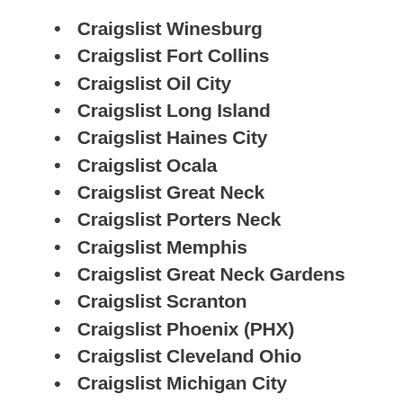Craigslist Winesburg
Craigslist Fort Collins
Craigslist Oil City
Craigslist Long Island
Craigslist Haines City
Craigslist Ocala
Craigslist Great Neck
Craigslist Porters Neck
Craigslist Memphis
Craigslist Great Neck Gardens
Craigslist Scranton
Craigslist Phoenix (PHX)
Craigslist Cleveland Ohio
Craigslist Michigan City
Craigslist Nashville Tn